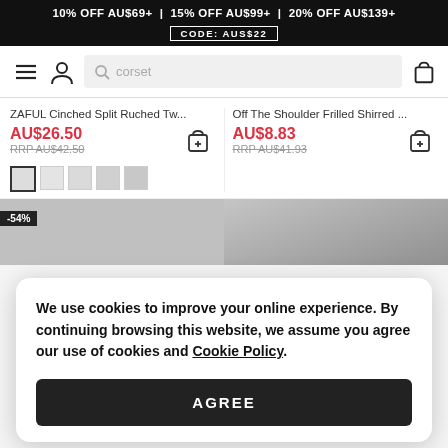10% OFF AU$69+  |  15% OFF AU$99+  |  20% OFF AU$139+  CODE: AUS22
ZAFUL Cinched Split Ruched Tw...
AU$26.50  RRP AU$42.50
Off The Shoulder Frilled Shirred ...
AU$8.83  RRP AU$41.93
-54%
We use cookies to improve your online experience. By continuing browsing this website, we assume you agree our use of cookies and Cookie Policy.
AGREE